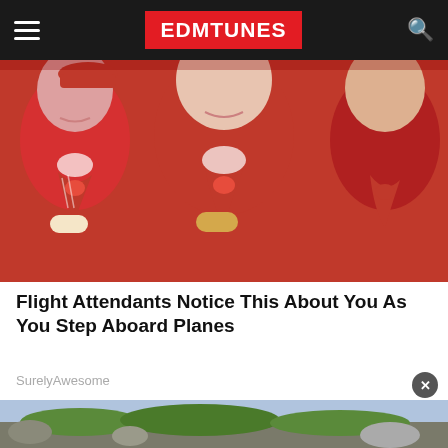EDMTUNES
[Figure (photo): Three flight attendants in red uniforms with red scarves and name badges, smiling]
Flight Attendants Notice This About You As You Step Aboard Planes
SurelyAwesome
[Figure (photo): Outdoor rocky landscape with green grass]